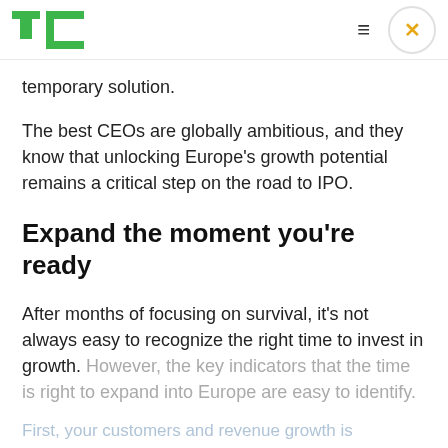TechCrunch logo, hamburger menu, close button
temporary solution.
The best CEOs are globally ambitious, and they know that unlocking Europe's growth potential remains a critical step on the road to IPO.
Expand the moment you're ready
After months of focusing on survival, it's not always easy to recognize the right time to invest in growth. However, the key indicators that the time is right to expand into Europe are easy to identify.
First, your customers and revenue growth is...